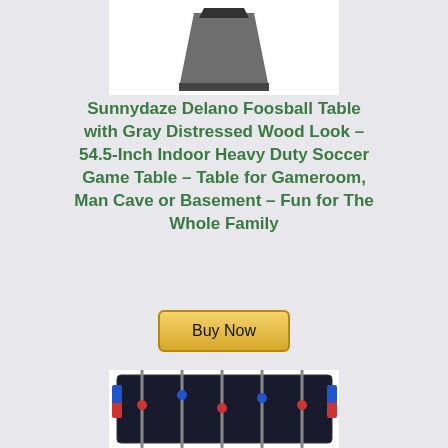[Figure (photo): Partial product image of a foosball table leg/stand component against white background, cropped at top of page]
Sunnydaze Delano Foosball Table with Gray Distressed Wood Look - 54.5-Inch Indoor Heavy Duty Soccer Game Table - Table for Gameroom, Man Cave or Basement - Fun for The Whole Family
Buy Now
[Figure (photo): Partial product image of a dark foosball table with colorful player rods, cropped at bottom of page]